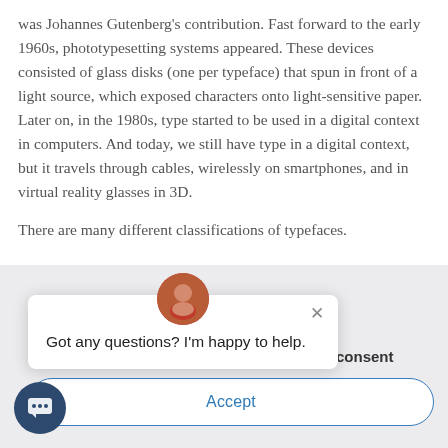was Johannes Gutenberg's contribution. Fast forward to the early 1960s, phototypesetting systems appeared. These devices consisted of glass disks (one per typeface) that spun in front of a light source, which exposed characters onto light-sensitive paper. Later on, in the 1980s, type started to be used in a digital context in computers. And today, we still have type in a digital context, but it travels through cables, wirelessly on smartphones, and in virtual reality glasses in 3D.
There are many different classifications of typefaces. … slab serif, script,
[Figure (screenshot): Chat popup widget with avatar photo of a woman, a close (×) button, and the message 'Got any questions? I'm happy to help.' Overlaid on page content.]
consent
nd our service.
Accept